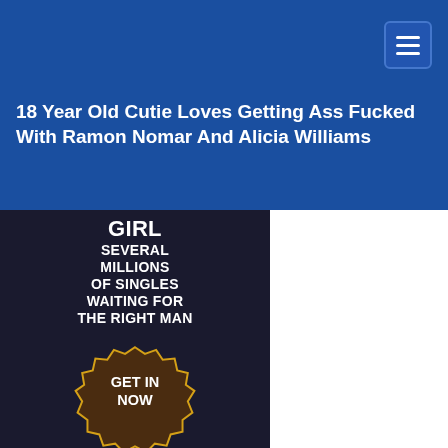Navigation bar with hamburger menu
18 Year Old Cutie Loves Getting Ass Fucked With Ramon Nomar And Alicia Williams
[Figure (photo): Advertisement banner showing text 'GIRL SEVERAL MILLIONS OF SINGLES WAITING FOR THE RIGHT MAN' with a seal/badge saying 'GET IN NOW' and a blonde woman photo below]